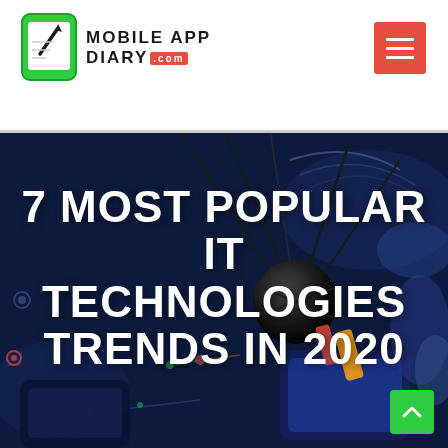MOBILE APP DIARY .com
[Figure (illustration): Technology illustration with dark navy blue background showing a satellite, smartphone, WiFi symbol, circuit elements, and colorful abstract shapes including a black sphere with antenna lines]
7 MOST POPULAR IT TECHNOLOGIES TRENDS IN 2020